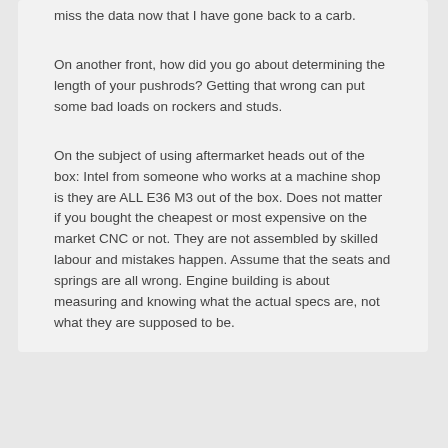miss the data now that I have gone back to a carb.
On another front, how did you go about determining the length of your pushrods? Getting that wrong can put some bad loads on rockers and studs.
On the subject of using aftermarket heads out of the box: Intel from someone who works at a machine shop is they are ALL E36 M3 out of the box. Does not matter if you bought the cheapest or most expensive on the market CNC or not. They are not assembled by skilled labour and mistakes happen. Assume that the seats and springs are all wrong. Engine building is about measuring and knowing what the actual specs are, not what they are supposed to be.